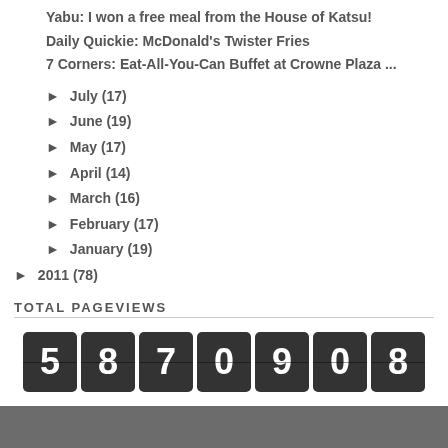Yabu: I won a free meal from the House of Katsu!
Daily Quickie: McDonald's Twister Fries
7 Corners: Eat-All-You-Can Buffet at Crowne Plaza ...
► July (17)
► June (19)
► May (17)
► April (14)
► March (16)
► February (17)
► January (19)
► 2011 (78)
TOTAL PAGEVIEWS
[Figure (other): Mechanical flip counter showing total pageviews: 5870908]